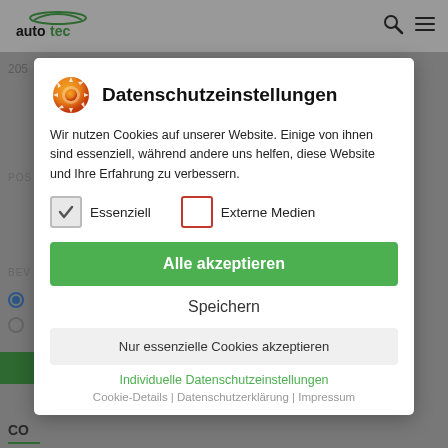[Figure (screenshot): Autotec website header with logo, search icon, and hamburger menu]
[Figure (screenshot): Cookie consent modal dialog overlay on autotec.de website showing Datenschutzeinstellungen (privacy settings) with options to accept cookies]
Datenschutzeinstellungen
Wir nutzen Cookies auf unserer Website. Einige von ihnen sind essenziell, während andere uns helfen, diese Website und Ihre Erfahrung zu verbessern.
Essenziell
Externe Medien
Alle akzeptieren
Speichern
Nur essenzielle Cookies akzeptieren
Individuelle Datenschutzeinstellungen
Cookie-Details | Datenschutzerklärung | Impressum